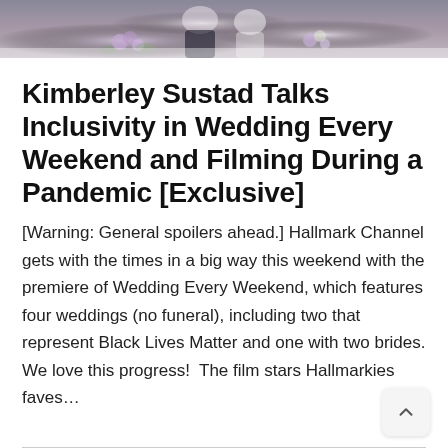[Figure (photo): Wedding scene photo showing people in wedding attire with floral decorations in purple and white, cropped at top of page]
Kimberley Sustad Talks Inclusivity in Wedding Every Weekend and Filming During a Pandemic [Exclusive]
[Warning: General spoilers ahead.] Hallmark Channel gets with the times in a big way this weekend with the premiere of Wedding Every Weekend, which features four weddings (no funeral), including two that represent Black Lives Matter and one with two brides. We love this progress!  The film stars Hallmarkies faves…